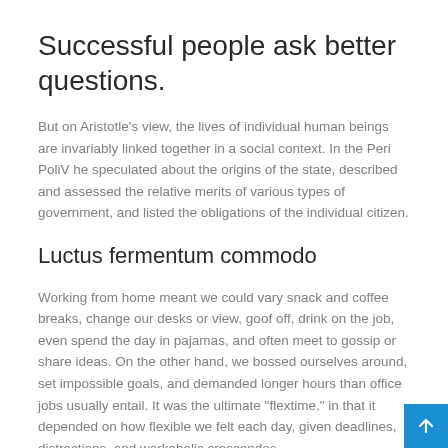Successful people ask better questions.
But on Aristotle’s view, the lives of individual human beings are invariably linked together in a social context. In the Peri PoliV he speculated about the origins of the state, described and assessed the relative merits of various types of government, and listed the obligations of the individual citizen.
Luctus fermentum commodo
Working from home meant we could vary snack and coffee breaks, change our desks or view, goof off, drink on the job, even spend the day in pajamas, and often meet to gossip or share ideas. On the other hand, we bossed ourselves around, set impossible goals, and demanded longer hours than office jobs usually entail. It was the ultimate “flextime,” in that it depended on how flexible we felt each day, given deadlines, distractions, and workaholic crescendos.
This is Photoshop’s version of